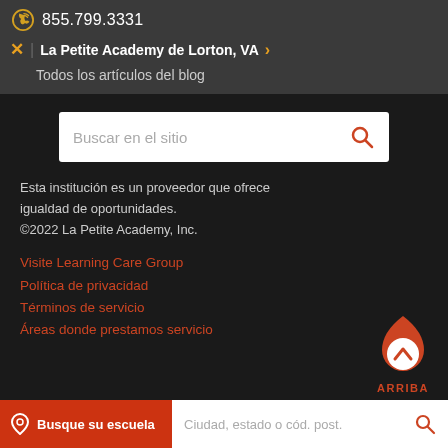855.799.3331
La Petite Academy de Lorton, VA
Todos los artículos del blog
Buscar en el sitio
Esta institución es un proveedor que ofrece igualdad de oportunidades.
©2022 La Petite Academy, Inc.
Visite Learning Care Group
Política de privacidad
Términos de servicio
Áreas donde prestamos servicio
ARRIBA
Busque su escuela | Ciudad, estado o cód. post.